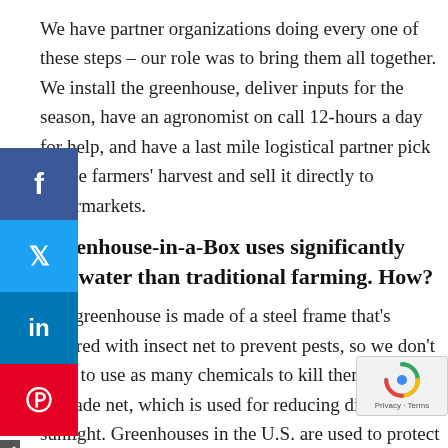We have partner organizations doing every one of these steps – our role was to bring them all together. We install the greenhouse, deliver inputs for the season, have an agronomist on call 12-hours a day for help, and have a last mile logistical partner pick up the farmers' harvest and sell it directly to supermarkets.
Greenhouse-in-a-Box uses significantly less water than traditional farming. How?
The greenhouse is made of a steel frame that's covered with insect net to prevent pests, so we don't have to use as many chemicals to kill them. The top is shade net, which is used for reducing direct sunlight. Greenhouses in the U.S. are used to protect crops from the cold, but in India they need to protect them from 120-degree heat. We use a mulch plastic covering the soil, and inside the mulch sheet is drip irrigation which is very precise. All this combined uses 90% less